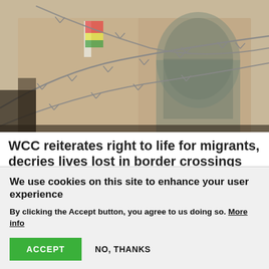[Figure (photo): Close-up photo of barbed wire in front of a blurred building with an arched window, outdoors scene with beige/tan tones.]
WCC reiterates right to life for migrants, decries lives lost in border crossings
As protests grow across the world over the senseless loss of migrants' lives, the World Council of Churches
We use cookies on this site to enhance your user experience
By clicking the Accept button, you agree to us doing so. More info
ACCEPT
NO, THANKS